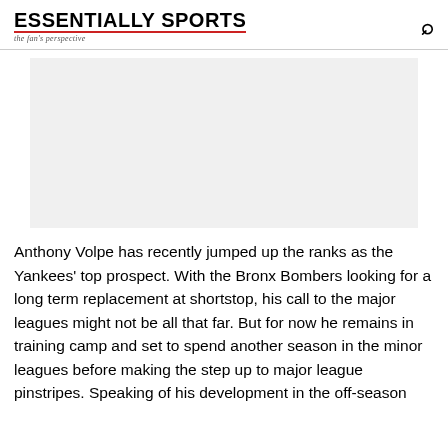ESSENTIALLY SPORTS — the fan's perspective
[Figure (photo): Gray placeholder image block representing a photo or advertisement area]
Anthony Volpe has recently jumped up the ranks as the Yankees' top prospect. With the Bronx Bombers looking for a long term replacement at shortstop, his call to the major leagues might not be all that far. But for now he remains in training camp and set to spend another season in the minor leagues before making the step up to major league pinstripes. Speaking of his development in the off-season